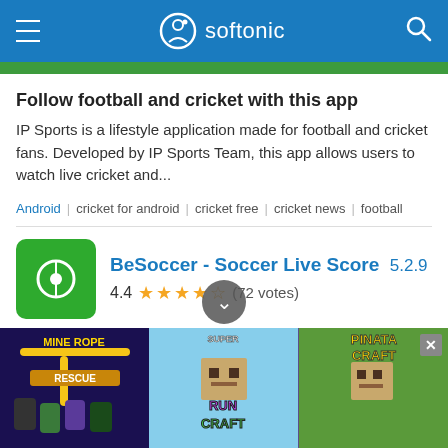softonic
Follow football and cricket with this app
IP Sports is a lifestyle application made for football and cricket fans. Developed by IP Sports Team, this app allows users to watch live cricket and...
Android | cricket for android | cricket free | cricket news | football
BeSoccer - Soccer Live Score 5.2.9
4.4 (72 votes)
Free Download for Android
Tracking Live Football Ma...
[Figure (screenshot): Advertisement banner at bottom showing three game ads: Mine Rope Rescue, Super Run Craft, and Pinata Craft]